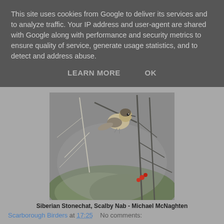This site uses cookies from Google to deliver its services and to analyze traffic. Your IP address and user-agent are shared with Google along with performance and security metrics to ensure quality of service, generate usage statistics, and to detect and address abuse.
LEARN MORE    OK
[Figure (photo): A small bird (Siberian Stonechat) perched on bare winter branches with green mossy ground below and red berries visible. Misty grey background.]
Siberian Stonechat, Scalby Nab - Michael McNaghten
Scarborough Birders at 17:25    No comments: